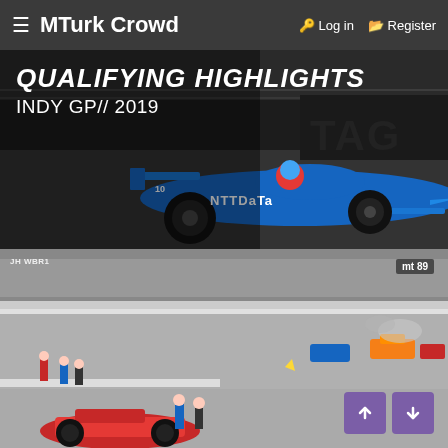≡ MTurk Crowd   🔑 Log in   🗂 Register
[Figure (photo): IndyCar qualifying highlights thumbnail showing a blue NTT Data IndyCar race car (number 10) on track with 'QUALIFYING HIGHLIGHTS INDY GP // 2019' text overlay, dark background with grandstands]
[Figure (photo): IndyCar race crash scene at Indianapolis Motor Speedway showing multiple cars in an accident on the track, with spectators visible on the right side and a red car in the lower foreground. Small 'MT 89' badge in upper right.]